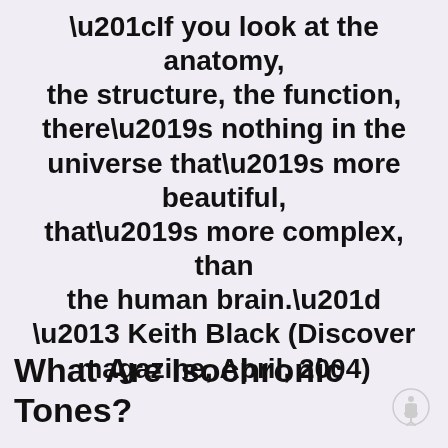“If you look at the anatomy, the structure, the function, there’s nothing in the universe that’s more beautiful, that’s more complex, than the human brain.” – Keith Black (Discover magazine, April, 2004)
What Are Isochronic Tones?